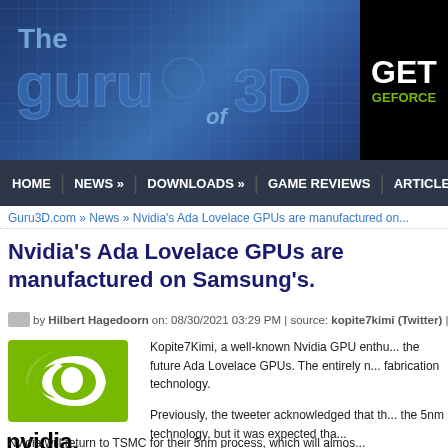[Figure (logo): The Guru of 3D website banner with blue circuit board background and GPU imagery]
[Figure (logo): Black advertisement banner with GET GEFORCE text in white and green]
HOME | NEWS » | DOWNLOADS » | GAME REVIEWS | ARTICLES »
Guru3D.com » News » Nvidia's Ada Lovelace GPUs are manufactured on...
Nvidia's Ada Lovelace GPUs are manufactured on Samsung's.
by Hilbert Hagedoorn on: 08/30/2021 03:29 PM | source: kopite7kimi (Twitter) | 22
[Figure (logo): Nvidia green eye logo and NVIDIA wordmark]
Kopite7Kimi, a well-known Nvidia GPU enthu... the future Ada Lovelace GPUs. The entirely n... fabrication technology.
Previously, the tweeter acknowledged that th... the 5nm technology, but it was expected tha...
Nvidia will return to TSMC for their 5nm process, which will almos...